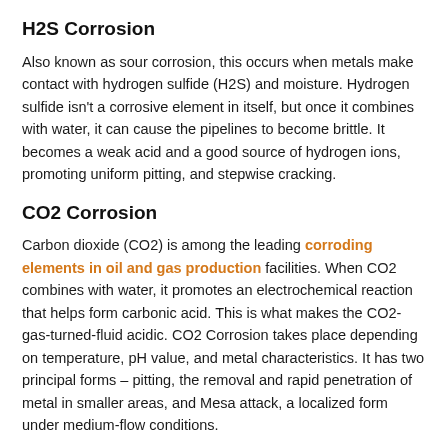H2S Corrosion
Also known as sour corrosion, this occurs when metals make contact with hydrogen sulfide (H2S) and moisture. Hydrogen sulfide isn't a corrosive element in itself, but once it combines with water, it can cause the pipelines to become brittle. It becomes a weak acid and a good source of hydrogen ions, promoting uniform pitting, and stepwise cracking.
CO2 Corrosion
Carbon dioxide (CO2) is among the leading corroding elements in oil and gas production facilities. When CO2 combines with water, it promotes an electrochemical reaction that helps form carbonic acid. This is what makes the CO2-gas-turned-fluid acidic. CO2 Corrosion takes place depending on temperature, pH value, and metal characteristics. It has two principal forms – pitting, the removal and rapid penetration of metal in smaller areas, and Mesa attack, a localized form under medium-flow conditions.